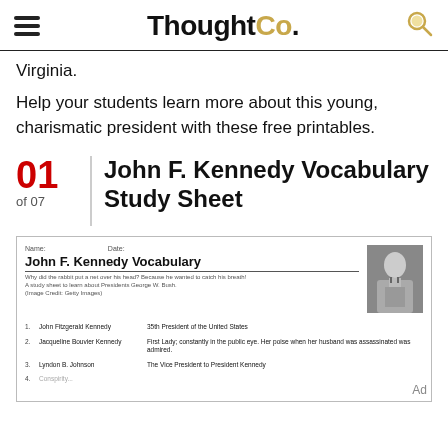ThoughtCo.
Virginia.
Help your students learn more about this young, charismatic president with these free printables.
01 of 07 John F. Kennedy Vocabulary Study Sheet
[Figure (screenshot): Preview of a John F. Kennedy Vocabulary worksheet showing name/date fields, worksheet title, subtitle, a photo of JFK, and vocabulary list items including John Fitzgerald Kennedy, Jacqueline Bouvier Kennedy, and Lyndon B. Johnson.]